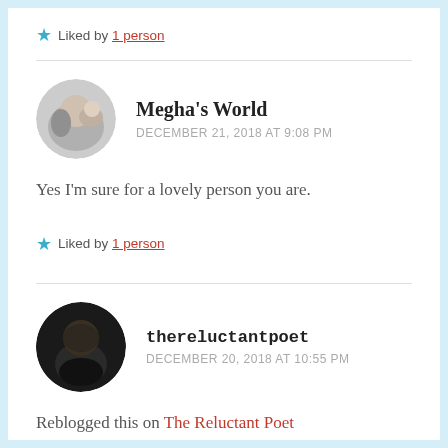Liked by 1 person
Megha's World
DECEMBER 21, 2018 AT 9:08 PM
Yes I'm sure for a lovely person you are.
Liked by 1 person
thereluctantpoet
DECEMBER 20, 2018 AT 10:55 PM
Reblogged this on The Reluctant Poet